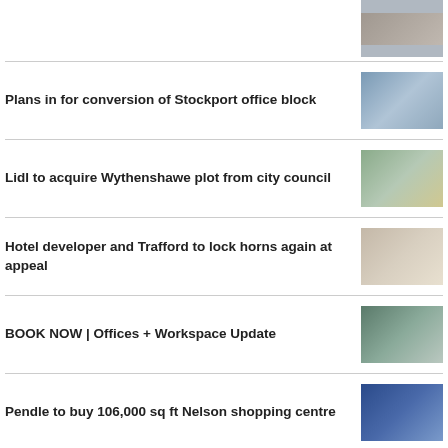[Figure (photo): Partial thumbnail image at top right]
Plans in for conversion of Stockport office block
[Figure (photo): Aerial view of Stockport office block]
Lidl to acquire Wythenshawe plot from city council
[Figure (photo): Building rendering for Wythenshawe plot]
Hotel developer and Trafford to lock horns again at appeal
[Figure (photo): Hotel building rendering]
BOOK NOW | Offices + Workspace Update
[Figure (photo): Office interior workspace photo]
Pendle to buy 106,000 sq ft Nelson shopping centre
[Figure (photo): Pendle Rise shopping centre photo]